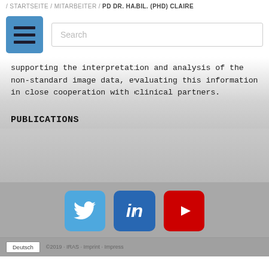/ STARTSEITE / MITARBEITER / PD DR. HABIL. (PHD) CLAIRE
[Figure (screenshot): Navigation bar with blue hamburger menu icon and search box]
supporting the interpretation and analysis of the non-standard image data, evaluating this information in close cooperation with clinical partners.
PUBLICATIONS
[Figure (screenshot): Footer with Twitter, LinkedIn, and YouTube social media icons on grey background]
©2019 ·IRAS· Imprint · Impress